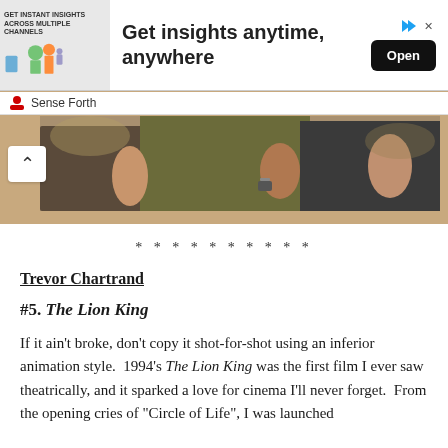[Figure (infographic): Advertisement banner: Get insights anytime, anywhere. Open button on right. Sense Forth branding at bottom left.]
[Figure (photo): Photo strip showing people running or exercising outdoors, cropped torsos visible.]
* * * * * * * * * *
Trevor Chartrand
#5. The Lion King
If it ain't broke, don't copy it shot-for-shot using an inferior animation style.  1994's The Lion King was the first film I ever saw theatrically, and it sparked a love for cinema I'll never forget.  From the opening cries of “Circle of Life”, I was launched